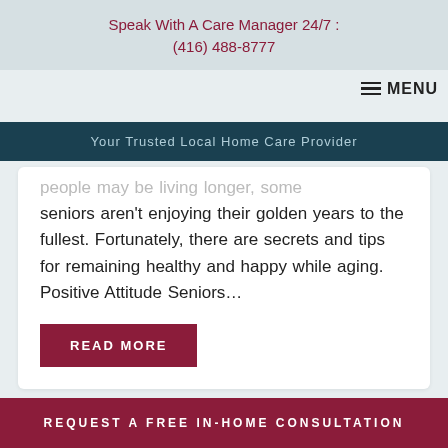Speak With A Care Manager 24/7 : (416) 488-8777
MENU
Your Trusted Local Home Care Provider
people may be living longer, some seniors aren't enjoying their golden years to the fullest. Fortunately, there are secrets and tips for remaining healthy and happy while aging. Positive Attitude Seniors...
READ MORE
REQUEST A FREE IN-HOME CONSULTATION